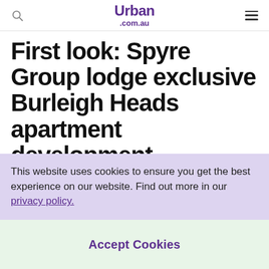Urban .com.au
First look: Spyre Group lodge exclusive Burleigh Heads apartment development
This website uses cookies to ensure you get the best experience on our website. Find out more in our privacy policy.
Accept Cookies